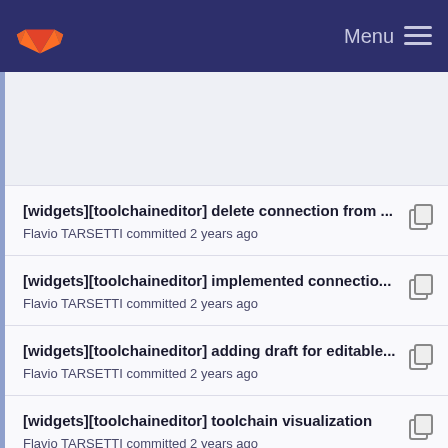Menu
[widgets][toolchaineditor] delete connection from ... Flavio TARSETTI committed 2 years ago
[widgets][toolchaineditor] implemented connectio... Flavio TARSETTI committed 2 years ago
[widgets][toolchaineditor] adding draft for editable... Flavio TARSETTI committed 2 years ago
[widgets][toolchaineditor] toolchain visualization Flavio TARSETTI committed 2 years ago